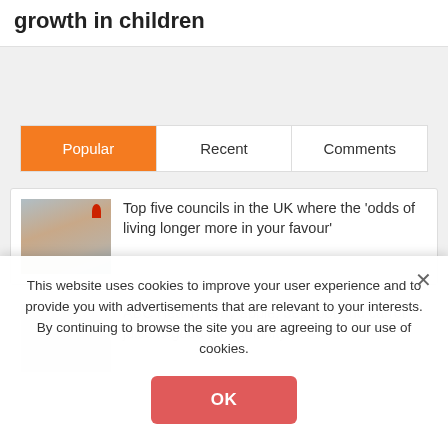growth in children
Popular | Recent | Comments
[Figure (photo): Older man overlaid on a map with a red pin marker]
Top five councils in the UK where the 'odds of living longer more in your favour'
[Figure (photo): Placeholder image for ABC Health article]
ABC Health: Why apple, beetroot and carrot juice is good for immunity
This website uses cookies to improve your user experience and to provide you with advertisements that are relevant to your interests. By continuing to browse the site you are agreeing to our use of cookies.